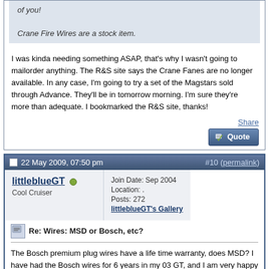of you!

Crane Fire Wires are a stock item.
I was kinda needing something ASAP, that's why I wasn't going to mailorder anything. The R&S site says the Crane Fanes are no longer available. In any case, I'm going to try a set of the Magstars sold through Advance. They'll be in tomorrow morning. I'm sure they're more than adequate. I bookmarked the R&S site, thanks!
Share
22 May 2009, 07:50 pm   #10 (permalink)
littleblueGT
Cool Cruiser
Join Date: Sep 2004
Location: .
Posts: 272
littleblueGT's Gallery
Re: Wires: MSD or Bosch, etc?
The Bosch premium plug wires have a life time warranty, does MSD? I have had the Bosch wires for 6 years in my 03 GT, and I am very happy with them.
Share